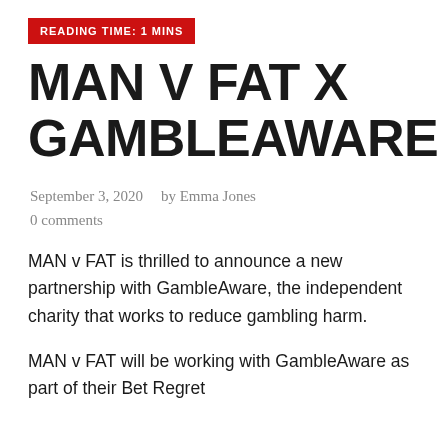READING TIME: 1 MINS
MAN V FAT X GAMBLEAWARE
September 3, 2020    by Emma Jones
0 comments
MAN v FAT is thrilled to announce a new partnership with GambleAware, the independent charity that works to reduce gambling harm.
MAN v FAT will be working with GambleAware as part of their Bet Regret